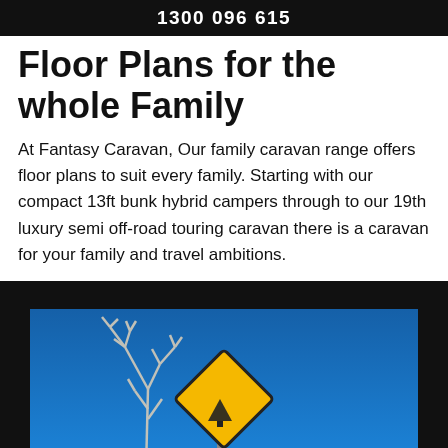1300 096 615
Floor Plans for the whole Family
At Fantasy Caravan, Our family caravan range offers floor plans to suit every family. Starting with our compact 13ft bunk hybrid campers through to our 19th luxury semi off-road touring caravan there is a caravan for your family and travel ambitions.
[Figure (photo): Photo of a blue sky with a bare dead tree branch and a yellow diamond-shaped warning/caution road sign against a bright blue sky background.]